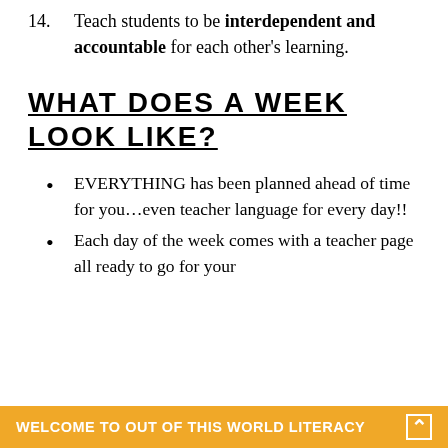14. Teach students to be interdependent and accountable for each other's learning.
WHAT DOES A WEEK LOOK LIKE?
EVERYTHING has been planned ahead of time for you…even teacher language for every day!!
Each day of the week comes with a teacher page all ready to go for your
WELCOME TO OUT OF THIS WORLD LITERACY